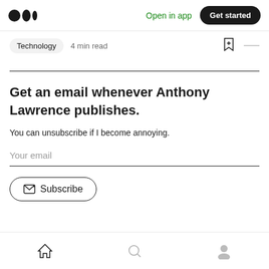Medium logo | Open in app | Get started
Technology  4 min read
Get an email whenever Anthony Lawrence publishes.
You can unsubscribe if I become annoying.
Your email
Subscribe
Home | Search | Profile